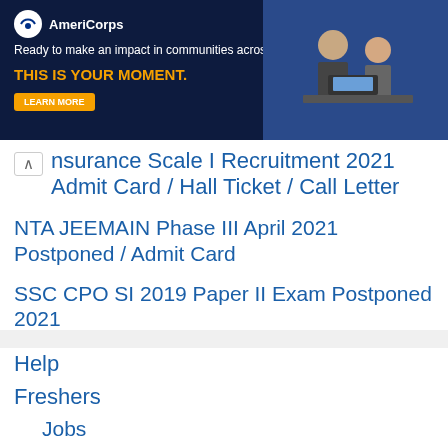[Figure (other): AmeriCorps advertisement banner with dark background, logo, tagline 'Ready to make an impact in communities across the country?', headline 'THIS IS YOUR MOMENT.', LEARN MORE button, and photo of people working.]
Insurance Scale I Recruitment 2021 Admit Card / Hall Ticket / Call Letter
NTA JEEMAIN Phase III April 2021 Postponed / Admit Card
SSC CPO SI 2019 Paper II Exam Postponed 2021
Help
Freshers
Jobs
Search Jobs
Jobs for Freshers
Government Jobs